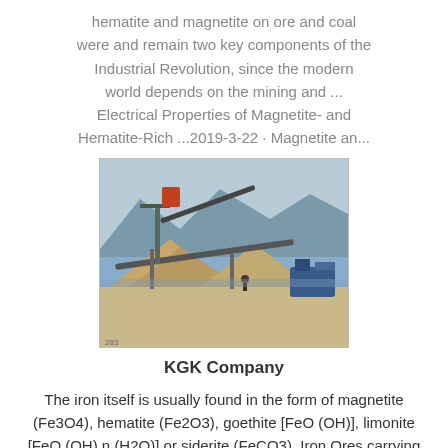hematite and magnetite on ore and coal were and remain two key components of the Industrial Revolution, since the modern world depends on the mining and ... Electrical Properties of Magnetite- and Hematite-Rich ...2019-3-22 · Magnetite an...
[Figure (photo): Outdoor mining/ore processing facility near a river with mountains in background, showing conveyor belts and industrial equipment piled with ore/rock material.]
KGK Company
The iron itself is usually found in the form of magnetite (Fe3O4), hematite (Fe2O3), goethite [FeO (OH)], limonite [FeO (OH).n (H2O)] or siderite (FeCO3). Iron Ores carrying very high quantities of hematite or...